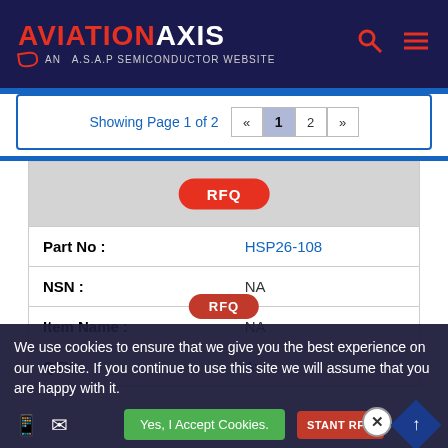AVIATION AXIS — AN A.S.A.P SEMICONDUCTOR WEBSITE
Showing Page 1 of 2  «  1  2  »
| Field | Value |
| --- | --- |
| Part No : | HSP26-108 |
| NSN : | NA |
| Item Name : | NA |
| QTY : | AvI |
We use cookies to ensure that we give you the best experience on our website. If you continue to use this site we will assume that you are happy with it.
Yes, I Accept Cookies.